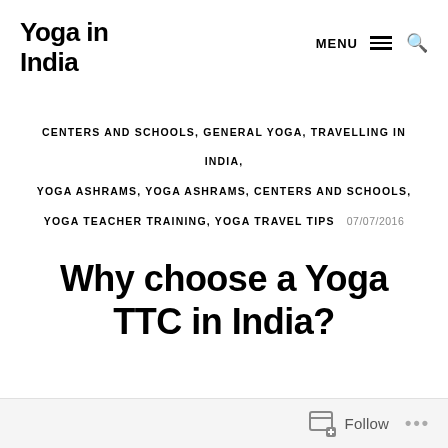Yoga in India
CENTERS AND SCHOOLS, GENERAL YOGA, TRAVELLING IN INDIA, YOGA ASHRAMS, YOGA ASHRAMS, CENTERS AND SCHOOLS, YOGA TEACHER TRAINING, YOGA TRAVEL TIPS   07/07/2016
Why choose a Yoga TTC in India?
Follow